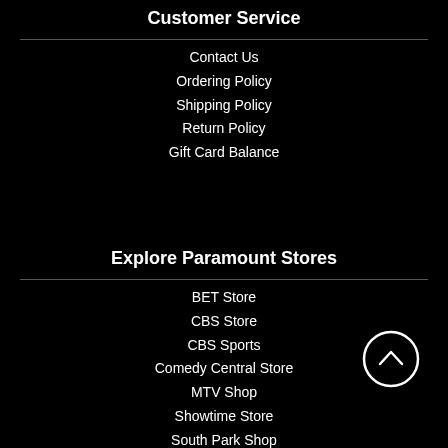Customer Service
Contact Us
Ordering Policy
Shipping Policy
Return Policy
Gift Card Balance
Explore Paramount Stores
BET Store
CBS Store
CBS Sports
Comedy Central Store
MTV Shop
Showtime Store
South Park Shop
SpongeBob Shop
Star Trek Shop
Yellowstone Shop
[Figure (illustration): Circle back-to-top scroll button with upward chevron arrow]